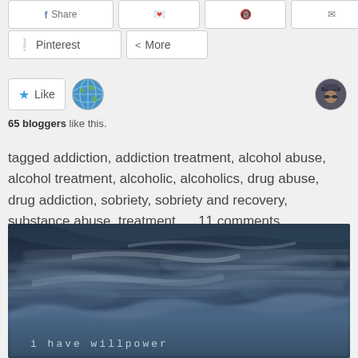[Figure (screenshot): Social share buttons row at top (clipped): multiple share buttons visible]
[Figure (screenshot): Pinterest and More share buttons]
[Figure (screenshot): Like button with star icon and two blogger avatar thumbnails]
65 bloggers like this.
tagged addiction, addiction treatment, alcohol abuse, alcohol treatment, alcoholic, alcoholics, drug abuse, drug addiction, sobriety, sobriety and recovery, substance abuse, treatment      11 comments
[Figure (photo): Dark moody sky with wispy clouds, dramatic blue-grey tone. Text overlay reads: i have willpower]